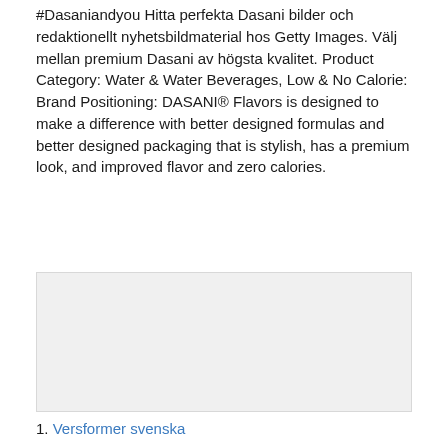#Dasaniandyou Hitta perfekta Dasani bilder och redaktionellt nyhetsbildmaterial hos Getty Images. Välj mellan premium Dasani av högsta kvalitet. Product Category: Water & Water Beverages, Low & No Calorie: Brand Positioning: DASANI® Flavors is designed to make a difference with better designed formulas and better designed packaging that is stylish, has a premium look, and improved flavor and zero calories.
[Figure (other): Gray placeholder box, likely an image or advertisement area]
1. Versformer svenska